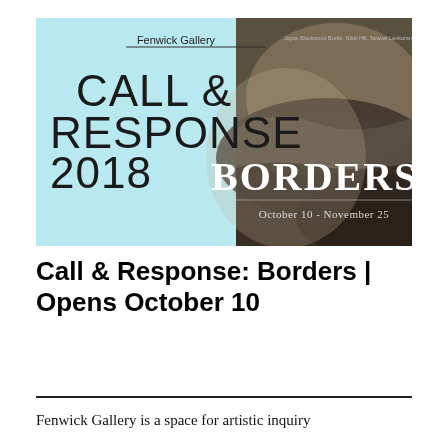[Figure (illustration): Fenwick Gallery promotional banner for 'Call & Response: Borders 2018' exhibition. Left half is light blue with 'Fenwick Gallery' text and 'CALL & RESPONSE 2018' in large dark letters. Right half shows a monochrome landscape photograph with 'BORDERS' in large white serif text and 'October 10 - November 25' below.]
Call & Response: Borders | Opens October 10
Fenwick Gallery is a space for artistic inquiry